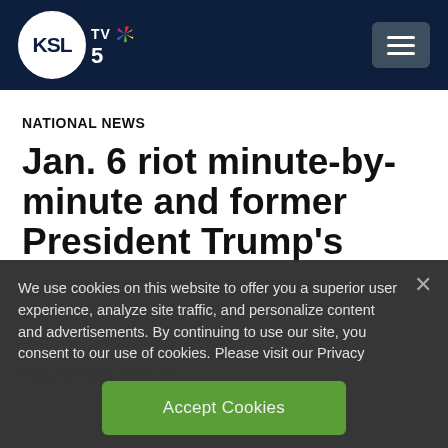KSL TV 5
NATIONAL NEWS
Jan. 6 riot minute-by-minute and former President Trump's
We use cookies on this website to offer you a superior user experience, analyze site traffic, and personalize content and advertisements. By continuing to use our site, you consent to our use of cookies. Please visit our Privacy Policy for more information.
Accept Cookies